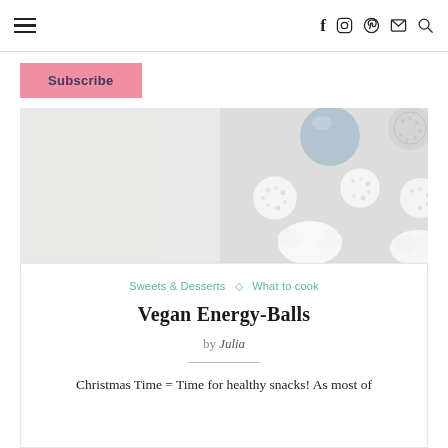Navigation header with hamburger menu and social icons: f (Facebook), Instagram, Pinterest, email, search
Subscribe
[Figure (photo): Close-up photo of white coconut energy balls/truffles and decorative silver bauble ornaments on a white surface, with a blue ornament in background.]
Sweets & Desserts ◇ What to cook
Vegan Energy-Balls
by Julia
Christmas Time = Time for healthy snacks! As most of